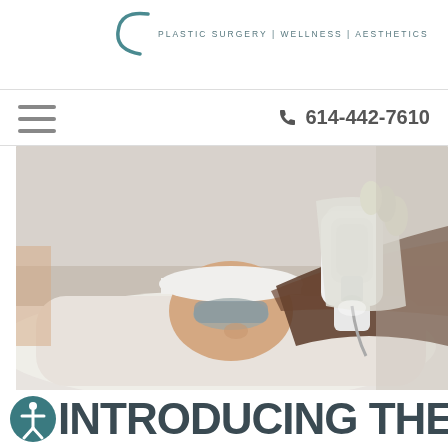PLASTIC SURGERY | WELLNESS | AESTHETICS
☎ 614-442-7610
[Figure (photo): A patient lying down receiving a laser or light-based facial treatment. A gloved hand holds a white medical device near the patient's face. The patient is wearing a white headband and protective eyewear.]
INTRODUCING THE